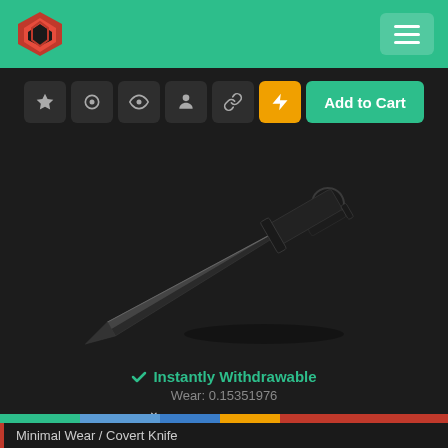[Figure (screenshot): Website navigation bar with green background, red diamond logo on left and hamburger menu on right]
[Figure (infographic): Action buttons row: star, Steam, eye, person, link icons in dark buttons, lightning bolt in orange, and 'Add to Cart' in green]
[Figure (photo): CS:GO StatTrak Skeleton Knife Night Stripe skin — a dark/black knife on dark background]
✓ Instantly Withdrawable
Wear: 0.15351976
[Figure (infographic): Wear condition color bar ranging from green (factory new) through blue, orange to red (battle-scarred), with indicator chevron at ~0.15]
★ StatTrak™ Skeleton Knife | Night Stripe
Minimal Wear / Covert Knife